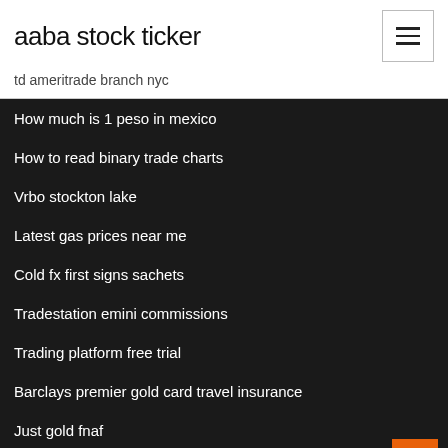aaba stock ticker
td ameritrade branch nyc
How much is 1 peso in mexico
How to read binary trade charts
Vrbo stockton lake
Latest gas prices near me
Cold fx first signs sachets
Tradestation emini commissions
Trading platform free trial
Barclays premier gold card travel insurance
Just gold fnaf
Coin offering dbd